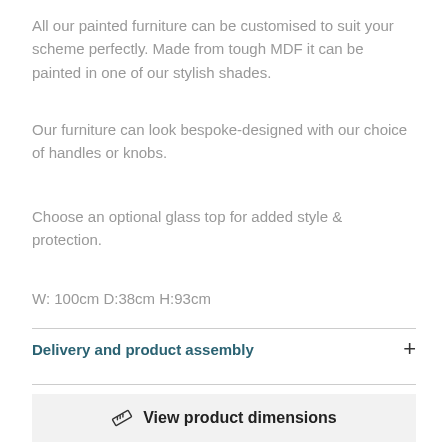All our painted furniture can be customised to suit your scheme perfectly. Made from tough MDF it can be painted in one of our stylish shades.
Our furniture can look bespoke-designed with our choice of handles or knobs.
Choose an optional glass top for added style & protection.
W: 100cm D:38cm H:93cm
Delivery and product assembly
View product dimensions